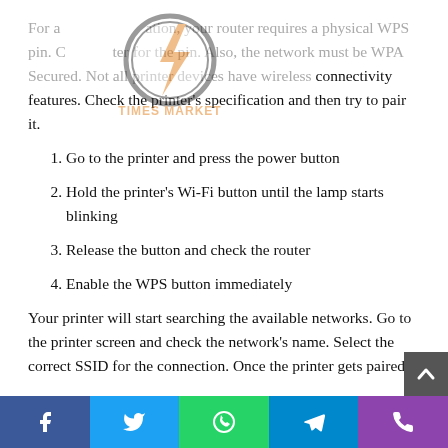[Figure (logo): Times Market logo - circular icon with lightning bolt, orange text 'TIMES MARKET' below, shown as watermark overlay]
For a WPS connection, your router requires a physical WPS pin. Check the router for the pin. Also, the network must be WPA Secured. Not all printer devices have wireless connectivity features. Check the printer's specification and then try to pair it.
Go to the printer and press the power button
Hold the printer's Wi-Fi button until the lamp starts blinking
Release the button and check the router
Enable the WPS button immediately
Your printer will start searching the available networks. Go to the printer screen and check the network's name. Select the correct SSID for the connection. Once the printer gets paired,
[Figure (other): Social media share bar at the bottom with Facebook, Twitter, WhatsApp, Telegram, and Phone icons]